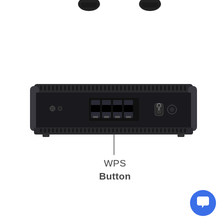[Figure (engineering-diagram): Photo of the back panel of a network router/modem shown in black. The device has ventilation slots on top and bottom, multiple Ethernet/RJ-11 ports in the center, a power button and WPS button on the right side, and small indicator buttons on the left. Two antennas or connectors are partially visible at the top of the image.]
WPS Button